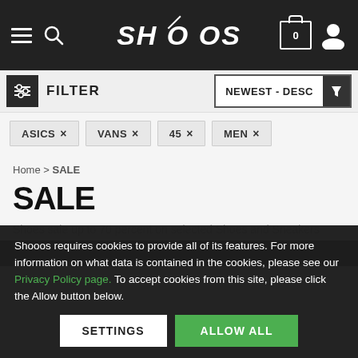SHOOOS — navigation header with hamburger, search, logo, cart (0), and user icon
FILTER   NEWEST - DESC
ASICS ×
VANS ×
45 ×
MEN ×
Home > SALE
SALE
Shoes sale up to 70 percent on selected Shoes and Sneakers
Shooos requires cookies to provide all of its features. For more information on what data is contained in the cookies, please see our Privacy Policy page. To accept cookies from this site, please click the Allow button below.
SETTINGS   ALLOW ALL